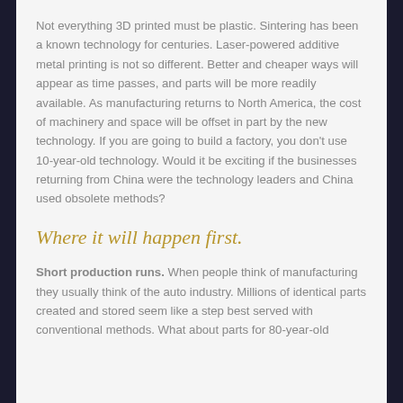Not everything 3D printed must be plastic. Sintering has been a known technology for centuries. Laser-powered additive metal printing is not so different. Better and cheaper ways will appear as time passes, and parts will be more readily available. As manufacturing returns to North America, the cost of machinery and space will be offset in part by the new technology. If you are going to build a factory, you don't use 10-year-old technology. Would it be exciting if the businesses returning from China were the technology leaders and China used obsolete methods?
Where it will happen first.
Short production runs. When people think of manufacturing they usually think of the auto industry. Millions of identical parts created and stored seem like a step best served with conventional methods. What about parts for 80-year-old